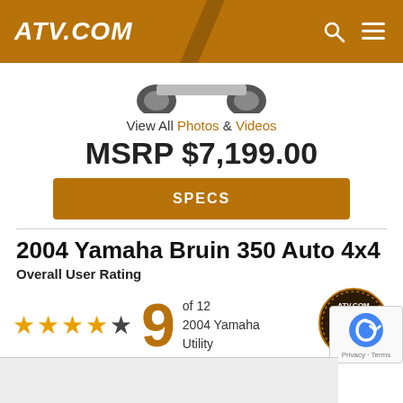ATV.COM
[Figure (photo): Partial view of an ATV (bottom wheels visible) on white background]
View All Photos & Videos
MSRP $7,199.00
SPECS
2004 Yamaha Bruin 350 Auto 4x4
Overall User Rating
[Figure (infographic): Star rating with 4 filled orange stars and 1 dark star, large orange number 9, text 'of 12 2004 Yamaha Utility', and ATV.COM User Rating badge]
Like 0
Tweet